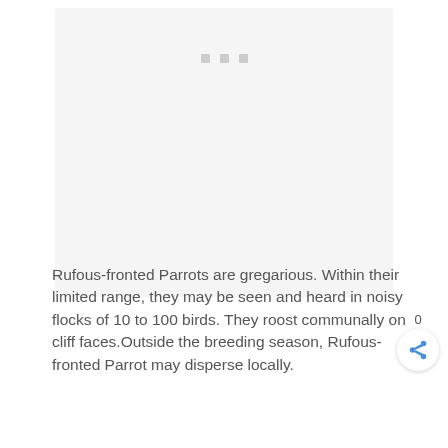[Figure (photo): Placeholder image area with three small gray squares/dots near the top center, representing a loading or missing image placeholder with light gray background]
Rufous-fronted Parrots are gregarious. Within their limited range, they may be seen and heard in noisy flocks of 10 to 100 birds. They roost communally on cliff faces.Outside the breeding season, Rufous-fronted Parrot may disperse locally.